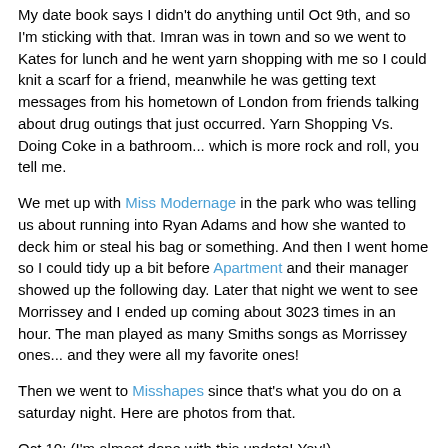My date book says I didn't do anything until Oct 9th, and so I'm sticking with that. Imran was in town and so we went to Kates for lunch and he went yarn shopping with me so I could knit a scarf for a friend, meanwhile he was getting text messages from his hometown of London from friends talking about drug outings that just occurred. Yarn Shopping Vs. Doing Coke in a bathroom... which is more rock and roll, you tell me.
We met up with Miss Modernage in the park who was telling us about running into Ryan Adams and how she wanted to deck him or steal his bag or something. And then I went home so I could tidy up a bit before Apartment and their manager showed up the following day. Later that night we went to see Morrissey and I ended up coming about 3023 times in an hour. The man played as many Smiths songs as Morrissey ones... and they were all my favorite ones!
Then we went to Misshapes since that's what you do on a saturday night. Here are photos from that.
Oct 10: (I'm almost done with this update! Yay!)